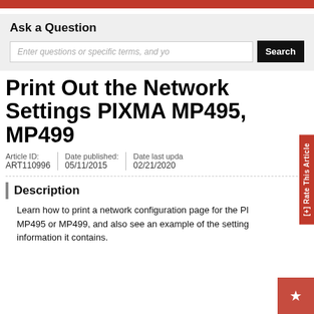Ask a Question
Enter questions or specific terms, and you
Print Out the Network Settings PIXMA MP495, MP499
Article ID: ART110996 | Date published: 05/11/2015 | Date last updated: 02/21/2020
Description
Learn how to print a network configuration page for the PIXMA MP495 or MP499, and also see an example of the settings information it contains.